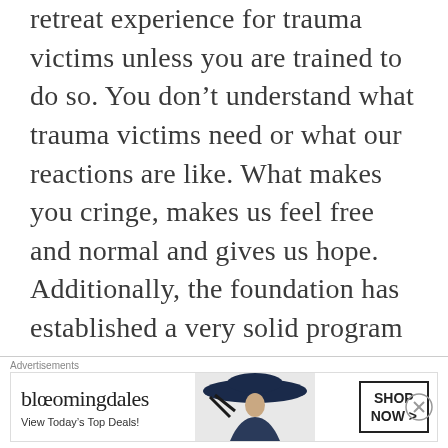retreat experience for trauma victims unless you are trained to do so. You don't understand what trauma victims need or what our reactions are like. What makes you cringe, makes us feel free and normal and gives us hope. Additionally, the foundation has established a very solid program so to accuse them of reinventing the wheel is to excuse every other treatment facility and hospital of doing the same which is non sensical. It's
[Figure (other): Bloomingdale's advertisement banner with logo, 'View Today's Top Deals!' text, a woman with a wide-brim hat, and a 'SHOP NOW >' button]